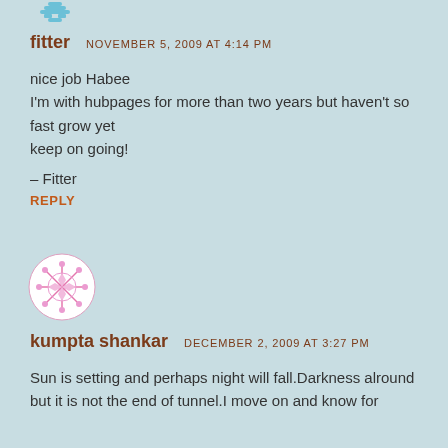[Figure (illustration): Small decorative avatar icon for user fitter, partially visible at top]
fitter   NOVEMBER 5, 2009 AT 4:14 PM
nice job Habee
I'm with hubpages for more than two years but haven't so fast grow yet
keep on going!

– Fitter
REPLY
[Figure (illustration): Pink/magenta circular decorative avatar icon for user kumpta shankar]
kumpta shankar   DECEMBER 2, 2009 AT 3:27 PM
Sun is setting and perhaps night will fall.Darkness alround but it is not the end of tunnel.I move on and know for